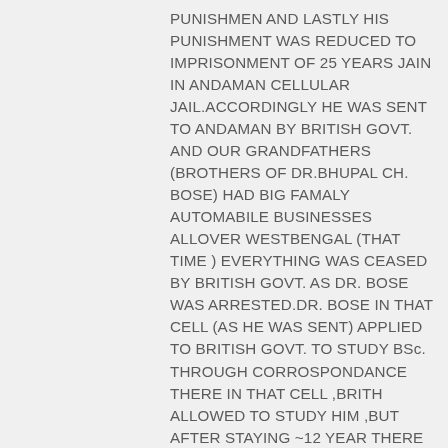PUNISHMEN AND LASTLY HIS PUNISHMENT WAS REDUCED TO IMPRISONMENT OF 25 YEARS JAIN IN ANDAMAN CELLULAR JAIL.ACCORDINGLY HE WAS SENT TO ANDAMAN BY BRITISH GOVT. AND OUR GRANDFATHERS (BROTHERS OF DR.BHUPAL CH. BOSE) HAD BIG FAMALY AUTOMABILE BUSINESSES ALLOVER WESTBENGAL (THAT TIME ) EVERYTHING WAS CEASED BY BRITISH GOVT. AS DR. BOSE WAS ARRESTED.DR. BOSE IN THAT CELL (AS HE WAS SENT) APPLIED TO BRITISH GOVT. TO STUDY BSc. THROUGH CORROSPONDANCE THERE IN THAT CELL ,BRITH ALLOWED TO STUDY HIM ,BUT AFTER STAYING ~12 YEAR THERE HE WAS PARALYSED AND THEN HE WAS BROUGH TO KOLKATA IN GOALPARK AREA(RIGHT NOW THE NAME OF THIS PLACE, LAKE AREA) WHERE OUR GRANDFATHER AND HIS OTHER YOUNGER BROTHERS ,AND THERE PARENT WERE STAYING IN A RENTAL HOUSE ( AS THEY GET LOST EVERYTHING ,THAT TIME),AND ALLTHE TIME BRITSH POLISE WERE FOLLOWING HIM 24 HOURS EVEN AS ANY FOOD OR